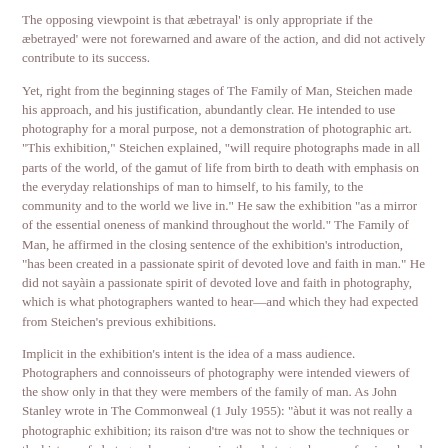The opposing viewpoint is that æbetrayal' is only appropriate if the æbetrayed' were not forewarned and aware of the action, and did not actively contribute to its success.
Yet, right from the beginning stages of The Family of Man, Steichen made his approach, and his justification, abundantly clear. He intended to use photography for a moral purpose, not a demonstration of photographic art. "This exhibition," Steichen explained, "will require photographs made in all parts of the world, of the gamut of life from birth to death with emphasis on the everyday relationships of man to himself, to his family, to the community and to the world we live in." He saw the exhibition "as a mirror of the essential oneness of mankind throughout the world." The Family of Man, he affirmed in the closing sentence of the exhibition's introduction, "has been created in a passionate spirit of devoted love and faith in man." He did not sayàin a passionate spirit of devoted love and faith in photography, which is what photographers wanted to hear—and which they had expected from Steichen's previous exhibitions.
Implicit in the exhibition's intent is the idea of a mass audience. Photographers and connoisseurs of photography were intended viewers of the show only in that they were members of the family of man. As John Stanley wrote in The Commonweal (1 July 1955): "àbut it was not really a photographic exhibition; its raison d'tre was not to show the techniques or the history of photography, nor to praise the photographers, professional and amateurs, living and dead; its raison d'etre was the praise and appreciation of the human family in the silencing variety of its conditions—and the promotion of love."
The whole point of the show was to generate warmth and good feeling among the maximum number of people throughout the world—not to